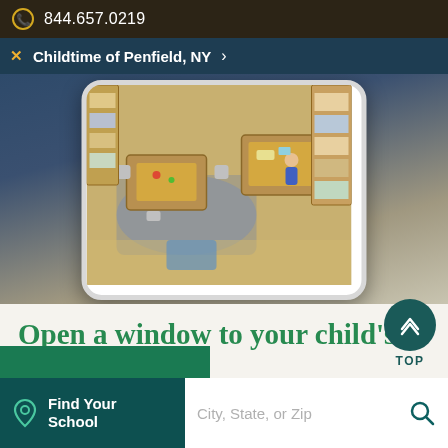844.657.0219
Childtime of Penfield, NY
[Figure (screenshot): Phone mockup showing a live classroom camera view from above — overhead security camera perspective of a colorful daycare/preschool classroom with small tables, chairs, shelving units with supplies, and a child visible in the room.]
Open a window to your child's day.
SproutAbout®, our exclusive family app, provides free live streaming video of your child's classroom to your mobile device.
Find Your School  City, State, or Zip